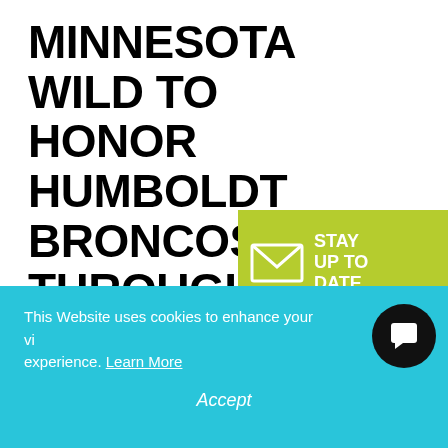MINNESOTA WILD TO HONOR HUMBOLDT BRONCOS THROUGHOUT THE 2018 STANLEY CUP PLAYOFFS
[Figure (infographic): Green banner/badge with envelope icon and text STAY UP TO DATE]
April 13, 2018
This Website uses cookies to enhance your viewing experience. Learn More
Accept